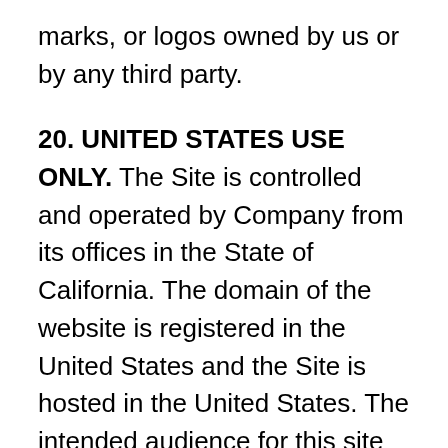marks, or logos owned by us or by any third party.
20. UNITED STATES USE ONLY. The Site is controlled and operated by Company from its offices in the State of California. The domain of the website is registered in the United States and the Site is hosted in the United States. The intended audience for this site consists of individuals in the United States only. Company makes no representation that any of the materials or the services to which you have been given access are available or appropriate for use in other locations. Your